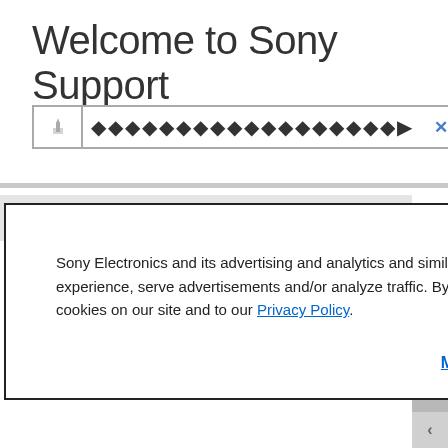Welcome to Sony Support
[Figure (screenshot): Search bar with filter icon, garbled text (question mark symbols), and X close button]
Sony Electronics and its advertising and analytics and similar partners use cookies to operate this website, personalize your experience, serve advertisements and/or analyze traffic. By using our site, you acknowledge this notice and agree to the use of cookies on our site and to our Privacy Policy.
Manage Cookies